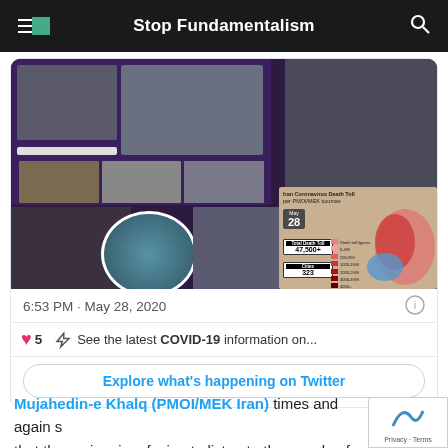Stop Fundamentalism
[Figure (screenshot): Twitter post screenshot showing collage of protest images and Iran coronavirus death toll map (May 28, date shown, Total Death Toll 47,500+, Cities 323)]
6:53 PM · May 28, 2020
❤ 5  ⚡ See the latest COVID-19 information on...
Explore what's happening on Twitter
Mujahedin-e Khalq (PMOI/MEK Iran) times and again s... that the regime is refusing to listen to the people of Ir... are struggling in many ways and it is right to worry about